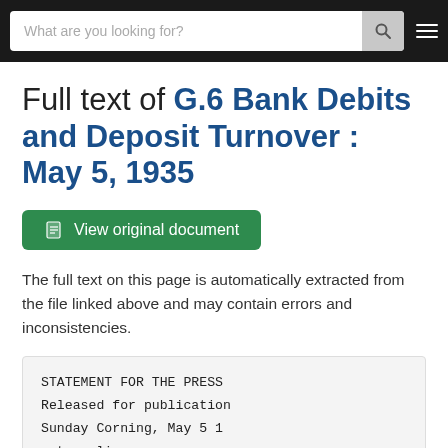What are you looking for?
Full text of G.6 Bank Debits and Deposit Turnover : May 5, 1935
View original document
The full text on this page is automatically extracted from the file linked above and may contain errors and inconsistencies.
STATEMENT FOR THE PRESS
Released for publication
Sunday Corning, May 5 1
not earlier.